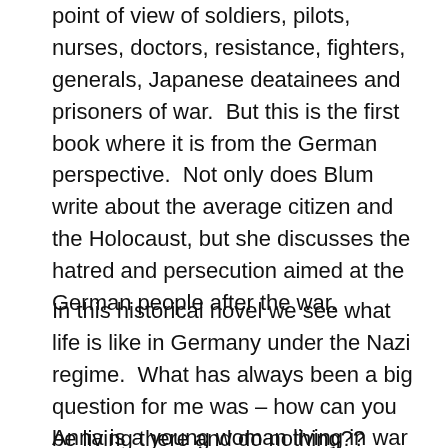point of view of soldiers, pilots, nurses, doctors, resistance, fighters, generals, Japanese deatainees and prisoners of war.  But this is the first book where it is from the German perspective.  Not only does Blum write about the average citizen and the Holocaust, but she discusses the hatred and persecution aimed at the German people after the war.
In this historical novel we see what life is like in Germany under the Nazi regime.  What has always been a big question for me was – how can you be living there and do nothing??  That would make you part of the problem!  Now I have some insight.
Anna is a young woman living in war torn Weimar